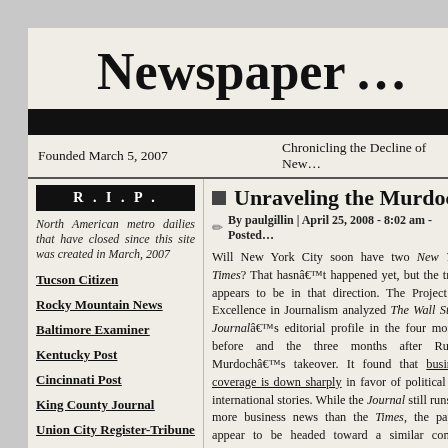Newspaper ...
Founded March 5, 2007 | Chronicling the Decline of New...
R . I . P .
North American metro dailies that have closed since this site was created in March, 2007
Tucson Citizen
Rocky Mountain News
Baltimore Examiner
Kentucky Post
Cincinnati Post
King County Journal
Union City Register-Tribune
Halifax Daily News
Albuquerque Tribune
Unraveling the Murdoch M...
By paulgillin | April 25, 2008 - 8:02 am - Posted...
Will New York City soon have two New York Times? That hasnâ€™t happened yet, but the trend appears to be in that direction. The Project for Excellence in Journalism analyzed The Wall Street Journalâ€™s editorial profile in the four months before and the three months after Rupert Murdochâ€™s takeover. It found that business coverage is down sharply in favor of political and international stories. While the Journal still runs far more business news than the Times, the papers appear to be headed toward a similar content model.
The tricky part for the Journal will be figuring out how to sustain its strength (and brand equity) in business coverage and not look too much like the Times.